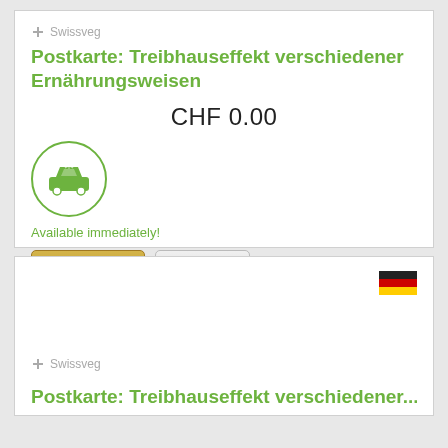[Figure (logo): Swissveg brand logo with cross/plus icon]
Postkarte: Treibhauseffekt verschiedener Ernährungsweisen
CHF 0.00
[Figure (illustration): Green car icon inside a green circle, indicating digital/immediate download]
Available immediately!
Buy Now  Details
[Figure (illustration): German flag icon in top-right of second card]
[Figure (logo): Swissveg brand logo with cross/plus icon]
Postkarte: ...